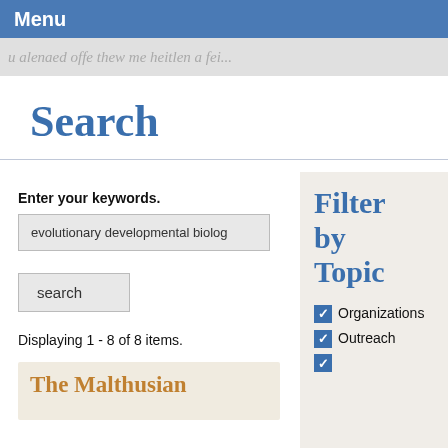Menu
[Figure (screenshot): Handwritten cursive text banner in light gray, partially visible]
Search
Enter your keywords.
evolutionary developmental biolog
search
Displaying 1 - 8 of 8 items.
The Malthusian
Filter by Topic
Organizations
Outreach